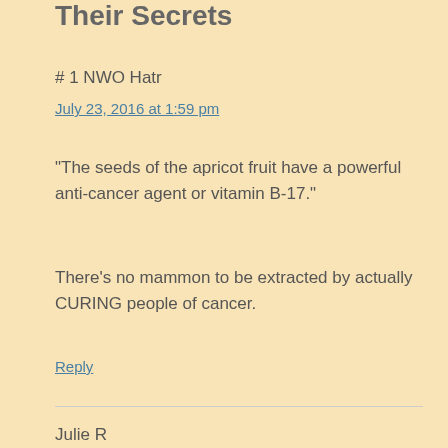Their Secrets
# 1 NWO Hatr
July 23, 2016 at 1:59 pm
“The seeds of the apricot fruit have a powerful anti-cancer agent or vitamin B-17.”
There’s no mammon to be extracted by actually CURING people of cancer.
Reply
Julie R